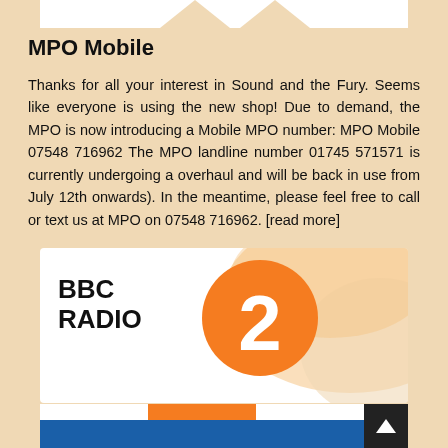[Figure (screenshot): Top white bar with two arrow/chevron shapes visible at the top of the page]
MPO Mobile
Thanks for all your interest in Sound and the Fury. Seems like everyone is using the new shop! Due to demand, the MPO is now introducing a Mobile MPO number: MPO Mobile 07548 716962 The MPO landline number 01745 571571 is currently undergoing a overhaul and will be back in use from July 12th onwards). In the meantime, please feel free to call or text us at MPO on 07548 716962. [read more]
[Figure (logo): BBC Radio 2 logo — black BBC RADIO text on left, large orange circle with white number 2 in center, orange swirl design on right side]
[Figure (screenshot): Navigation bar with Home, Shows (active/orange), Schedule tabs, and a dark scroll-to-top button with up arrow. Below is a blue bar.]